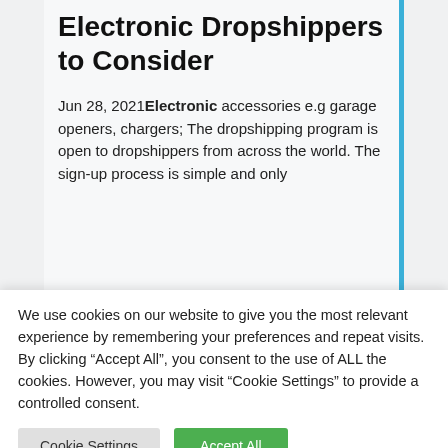Electronic Dropshippers to Consider
Jun 28, 2021 Electronic accessories e.g garage openers, chargers; The dropshipping program is open to dropshippers from across the world. The sign-up process is simple and only
We use cookies on our website to give you the most relevant experience by remembering your preferences and repeat visits. By clicking “Accept All”, you consent to the use of ALL the cookies. However, you may visit “Cookie Settings” to provide a controlled consent.